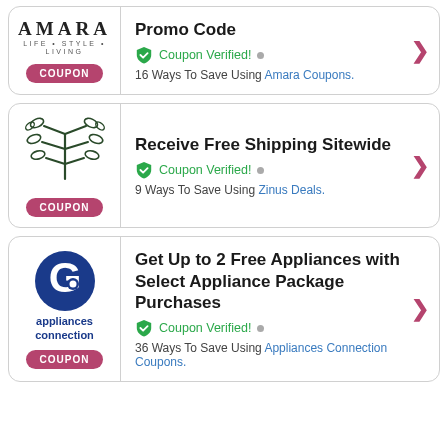[Figure (logo): Amara Life Style Living logo]
Promo Code
Coupon Verified! • 16 Ways To Save Using Amara Coupons.
[Figure (logo): Zinus leaf/branch illustration]
Receive Free Shipping Sitewide
Coupon Verified! • 9 Ways To Save Using Zinus Deals.
[Figure (logo): Appliances Connection logo]
Get Up to 2 Free Appliances with Select Appliance Package Purchases
Coupon Verified! • 36 Ways To Save Using Appliances Connection Coupons.